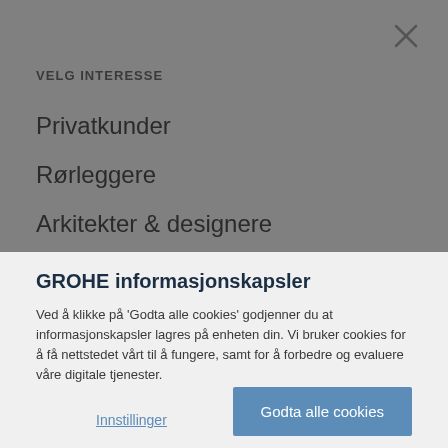VELG INTERESSE
Privatkunder
Rørleggere
Arkitekter & designere
GROHE informasjonskapsler
Ved å klikke på 'Godta alle cookies' godjenner du at informasjonskapsler lagres på enheten din. Vi bruker cookies for å få nettstedet vårt til å fungere, samt for å forbedre og evaluere våre digitale tjenester.
Innstillinger
Godta alle cookies